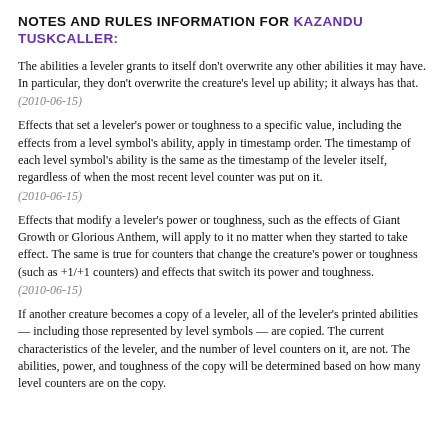NOTES AND RULES INFORMATION FOR KAZANDU TUSKCALLER:
The abilities a leveler grants to itself don't overwrite any other abilities it may have. In particular, they don't overwrite the creature's level up ability; it always has that.
(2010-06-15)
Effects that set a leveler's power or toughness to a specific value, including the effects from a level symbol's ability, apply in timestamp order. The timestamp of each level symbol's ability is the same as the timestamp of the leveler itself, regardless of when the most recent level counter was put on it.
(2010-06-15)
Effects that modify a leveler's power or toughness, such as the effects of Giant Growth or Glorious Anthem, will apply to it no matter when they started to take effect. The same is true for counters that change the creature's power or toughness (such as +1/+1 counters) and effects that switch its power and toughness.
(2010-06-15)
If another creature becomes a copy of a leveler, all of the leveler's printed abilities — including those represented by level symbols — are copied. The current characteristics of the leveler, and the number of level counters on it, are not. The abilities, power, and toughness of the copy will be determined based on how many level counters are on the copy.